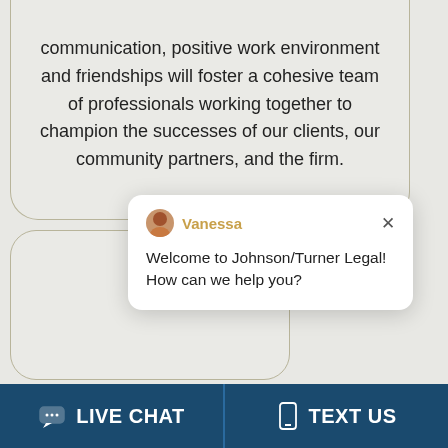communication, positive work environment and friendships will foster a cohesive team of professionals working together to champion the successes of our clients, our community partners, and the firm.
[Figure (screenshot): Live chat popup widget showing agent 'Vanessa' with message: Welcome to Johnson/Turner Legal! How can we help you?]
[Figure (illustration): Brain inside a lightbulb icon on a circular teal/grey background]
[Figure (photo): Online agent photo of a smiling young woman with notification badge showing '1' and a green online dot, with 'Online Agent' label]
LIVE CHAT
TEXT US